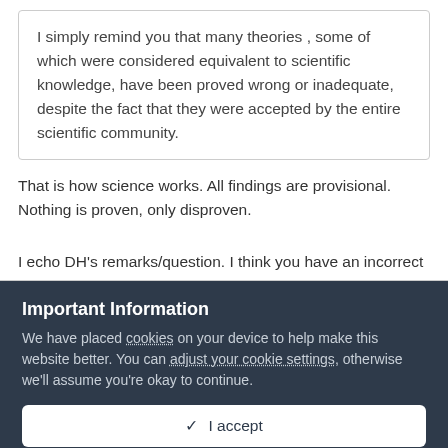I simply remind you that many theories , some of which were considered equivalent to scientific knowledge, have been proved wrong or inadequate, despite the fact that they were accepted by the entire scientific community.
That is how science works. All findings are provisional. Nothing is proven, only disproven.
I echo DH's remarks/question. I think you have an incorrect notion of what a theory is. What do you think?
Important Information
We have placed cookies on your device to help make this website better. You can adjust your cookie settings, otherwise we'll assume you're okay to continue.
✓  I accept